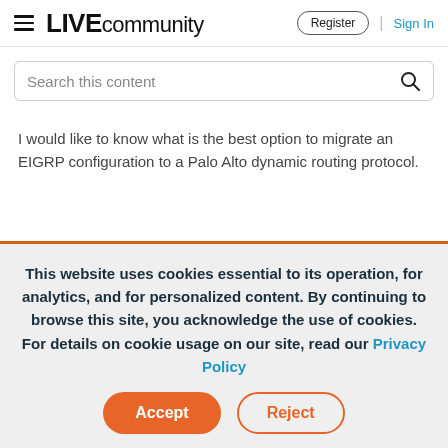LIVE community | Register | Sign In
Search this content
I would like to know what is the best option to migrate an EIGRP configuration to a Palo Alto dynamic routing protocol.
This website uses cookies essential to its operation, for analytics, and for personalized content. By continuing to browse this site, you acknowledge the use of cookies. For details on cookie usage on our site, read our Privacy Policy
Accept | Reject